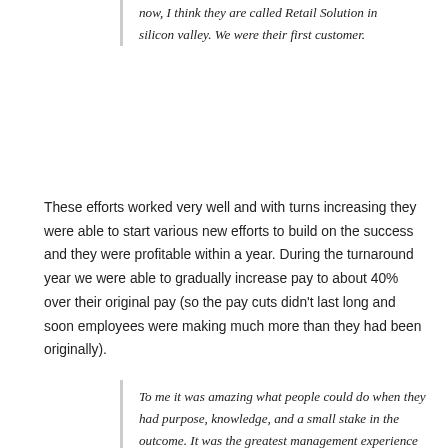now, I think they are called Retail Solution in silicon valley. We were their first customer.
These efforts worked very well and with turns increasing they were able to start various new efforts to build on the success and they were profitable within a year. During the turnaround year we were able to gradually increase pay to about 40% over their original pay (so the pay cuts didn't last long and soon employees were making much more than they had been originally).
To me it was amazing what people could do when they had purpose, knowledge, and a small stake in the outcome. It was the greatest management experience in my life.